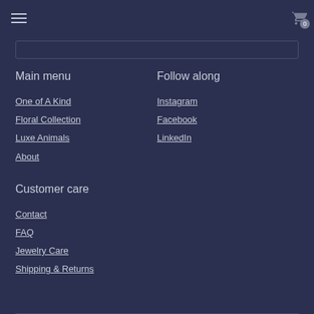Navigation header with hamburger menu and cart icon showing 0 items
Main menu
One of A Kind
Floral Collection
Luxe Animals
About
Follow along
Instagram
Facebook
LinkedIn
Customer care
Contact
FAQ
Jewelry Care
Shipping & Returns